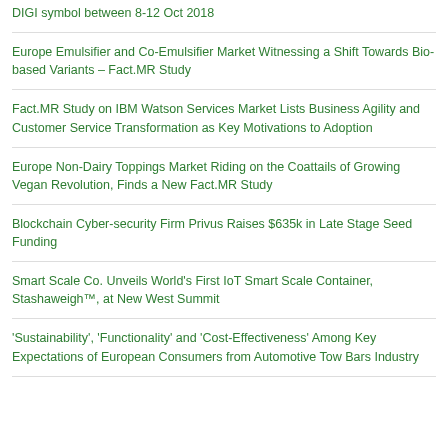DIGI symbol between 8-12 Oct 2018
Europe Emulsifier and Co-Emulsifier Market Witnessing a Shift Towards Bio-based Variants – Fact.MR Study
Fact.MR Study on IBM Watson Services Market Lists Business Agility and Customer Service Transformation as Key Motivations to Adoption
Europe Non-Dairy Toppings Market Riding on the Coattails of Growing Vegan Revolution, Finds a New Fact.MR Study
Blockchain Cyber-security Firm Privus Raises $635k in Late Stage Seed Funding
Smart Scale Co. Unveils World's First IoT Smart Scale Container, Stashaweigh™, at New West Summit
'Sustainability', 'Functionality' and 'Cost-Effectiveness' Among Key Expectations of European Consumers from Automotive Tow Bars Industry